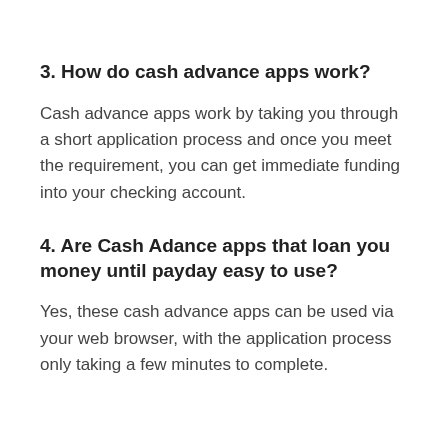3. How do cash advance apps work?
Cash advance apps work by taking you through a short application process and once you meet the requirement, you can get immediate funding into your checking account.
4. Are Cash Adance apps that loan you money until payday easy to use?
Yes, these cash advance apps can be used via your web browser, with the application process only taking a few minutes to complete.